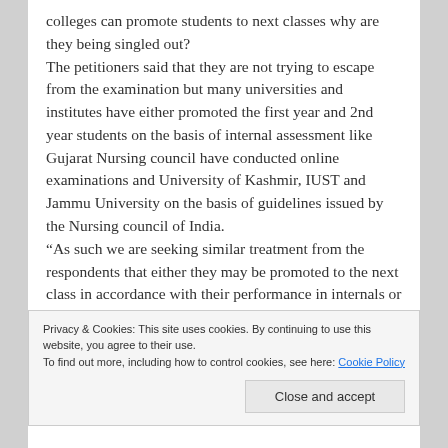colleges can promote students to next classes why are they being singled out? The petitioners said that they are not trying to escape from the examination but many universities and institutes have either promoted the first year and 2nd year students on the basis of internal assessment like Gujarat Nursing council have conducted online examinations and University of Kashmir, IUST and Jammu University on the basis of guidelines issued by the Nursing council of India. “As such we are seeking similar treatment from the respondents that either they may be promoted to the next class in accordance with their performance in internals or if the respondents are hell bent to conduct the examination
Privacy & Cookies: This site uses cookies. By continuing to use this website, you agree to their use. To find out more, including how to control cookies, see here: Cookie Policy
Close and accept